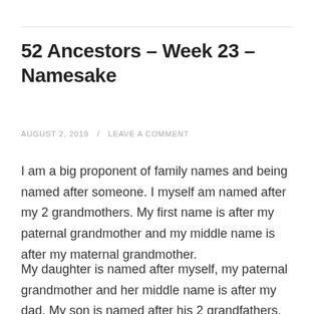52 Ancestors – Week 23 – Namesake
AUGUST 2, 2019  /  LEAVE A COMMENT
I am a big proponent of family names and being named after someone. I myself am named after my 2 grandmothers. My first name is after my paternal grandmother and my middle name is after my maternal grandmother.
My daughter is named after myself, my paternal grandmother and her middle name is after my dad. My son is named after his 2 grandfathers. Samantha on the other hand...